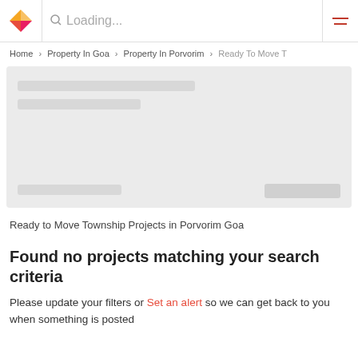Loading...
Home > Property In Goa > Property In Porvorim > Ready To Move T
[Figure (other): Skeleton loading card placeholder with grey background and shimmer placeholder bars]
Ready to Move Township Projects in Porvorim Goa
Found no projects matching your search criteria
Please update your filters or Set an alert so we can get back to you when something is posted